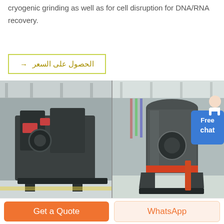cryogenic grinding as well as for cell disruption for DNA/RNA recovery.
→ الحصول على السعر
[Figure (photo): Two large industrial grinding machines in a factory/warehouse setting. Left machine is a large dark metal mill/crusher on a platform. Right machine is a tall cylindrical vertical mill with orange/red accents. A customer service representative icon and 'Free chat' badge appear in the top-right corner of the photo.]
Grinding Media Milling Balls Ceramic Grinding Media ...
Grinding Media Grinding media are the means used to crush or grind material in a mill. It comes in different forms such as alumina